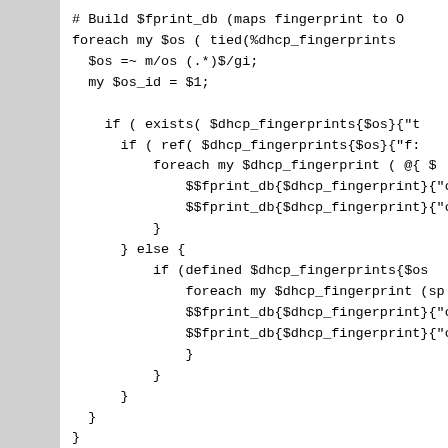# Build $fprint_db (maps fingerprint to O
foreach my $os ( tied(%dhcp_fingerprints
  $os =~ m/os (.*)$/gi;
  my $os_id = $1;

    if ( exists( $dhcp_fingerprints{$os}{"t
      if ( ref( $dhcp_fingerprints{$os}{"f:
          foreach my $dhcp_fingerprint ( @{ $
              $$fprint_db{$dhcp_fingerprint}{"o
              $$fprint_db{$dhcp_fingerprint}{"o
          }
      } else {
          if (defined $dhcp_fingerprints{$os
              foreach my $dhcp_fingerprint (sp:
              $$fprint_db{$dhcp_fingerprint}{"o
              $$fprint_db{$dhcp_fingerprint}{"o
              }
          }
      }
  }
}

# now we loop through all the fingerprin